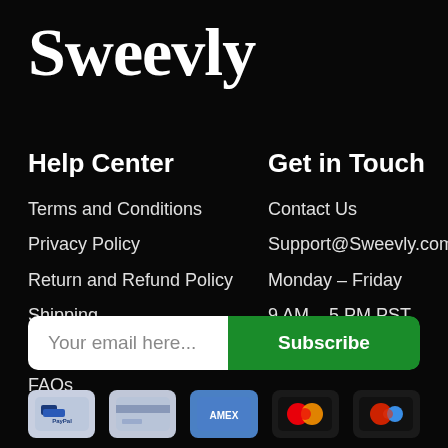Sweevly
Help Center
Terms and Conditions
Privacy Policy
Return and Refund Policy
Shipping
Who We Are
FAQs
Get in Touch
Contact Us
Support@Sweevly.com
Monday – Friday
9 AM – 5 PM PST
Your email here...
Subscribe
[Figure (other): Payment method icons: PayPal, generic card, Amex, Mastercard, and another card logo]